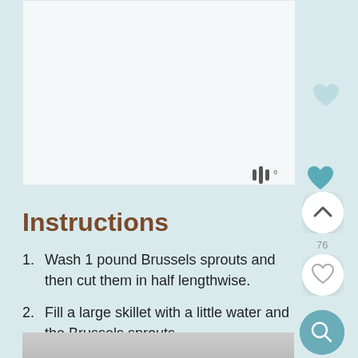[Figure (photo): Food photo placeholder area, white/light background, partial view of recipe image]
[Figure (logo): WP logo mark in gray text]
[Figure (illustration): Teal filled heart icon (large, faint) on the right side]
[Figure (illustration): Teal filled heart icon near WP logo, and circular UI buttons: scroll up (chevron), heart outline, search icon]
Instructions
Wash 1 pound Brussels sprouts and then cut them in half lengthwise.
Fill a large skillet with a little water and the Brussels sprouts.
[Figure (photo): Partial bottom image strip showing recipe photo]